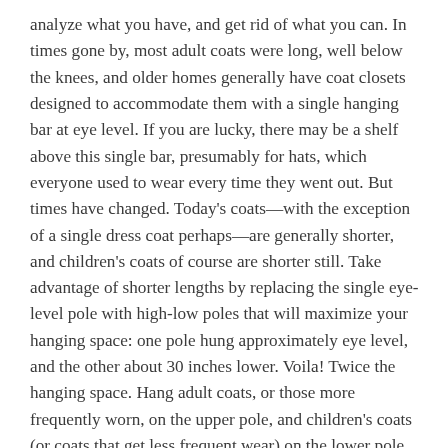analyze what you have, and get rid of what you can. In times gone by, most adult coats were long, well below the knees, and older homes generally have coat closets designed to accommodate them with a single hanging bar at eye level. If you are lucky, there may be a shelf above this single bar, presumably for hats, which everyone used to wear every time they went out. But times have changed. Today's coats—with the exception of a single dress coat perhaps—are generally shorter, and children's coats of course are shorter still. Take advantage of shorter lengths by replacing the single eye-level pole with high-low poles that will maximize your hanging space: one pole hung approximately eye level, and the other about 30 inches lower. Voila! Twice the hanging space. Hang adult coats, or those more frequently worn, on the upper pole, and children's coats (or coats that get less frequent wear) on the lower pole. Unless you have a very large coat closet,